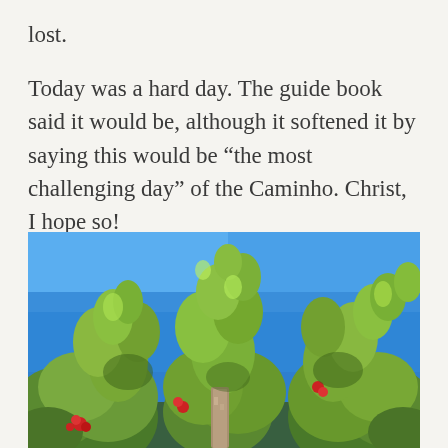lost.
Today was a hard day. The guide book said it would be, although it softened it by saying this would be “the most challenging day” of the Caminho. Christ, I hope so!
[Figure (photo): Outdoor photo taken from below, looking up at green leafy vines and plants (including red roses) against a clear deep blue sky, with a stone or wooden post visible in the lower center.]